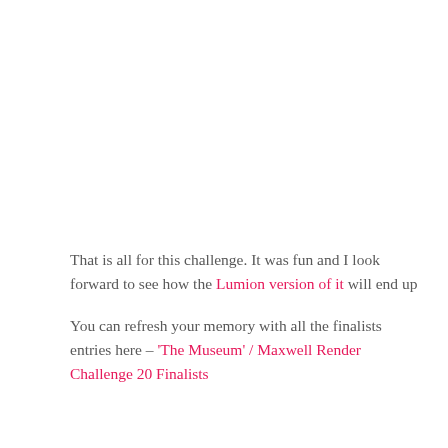That is all for this challenge. It was fun and I look forward to see how the Lumion version of it will end up
You can refresh your memory with all the finalists entries here – 'The Museum' / Maxwell Render Challenge 20 Finalists